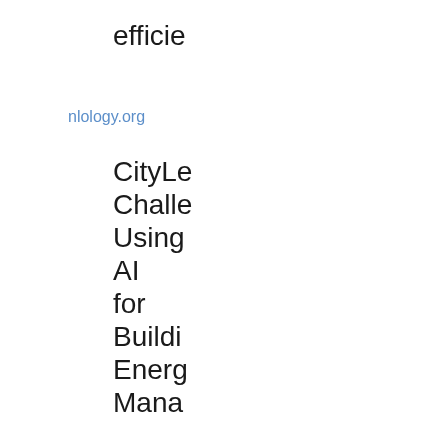efficie
nlology.org
CityLe
Challe
Using
AI
for
Buildi
Energ
Mana
nlology.org
New
hardw
offers
faster
comp
for